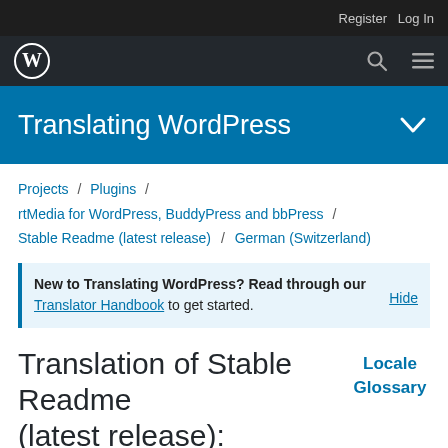Register  Log In
[Figure (logo): WordPress logo and navigation bar with search and menu icons]
Translating WordPress
Projects / Plugins / rtMedia for WordPress, BuddyPress and bbPress / Stable Readme (latest release) / German (Switzerland)
New to Translating WordPress? Read through our Translator Handbook to get started.  Hide
Translation of Stable Readme (latest release): German (Switzerland)
Locale Glossary